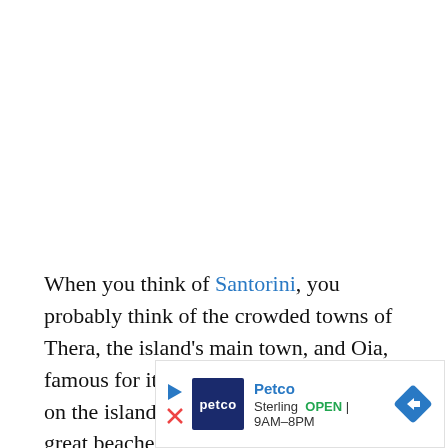When you think of Santorini, you probably think of the crowded towns of Thera, the island's main town, and Oia, famous for its sunsets. But tucked away on the island's southern coast are some great beaches
[Figure (screenshot): Advertisement banner for Petco showing logo, brand name in blue, location 'Sterling' and hours 'OPEN 9AM-8PM', with navigation arrow icon]